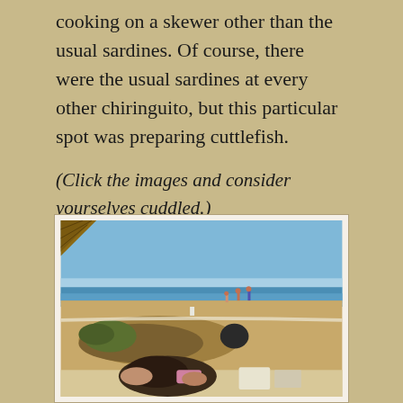cooking on a skewer other than the usual sardines. Of course, there were the usual sardines at every other chiringuito, but this particular spot was preparing cuttlefish.
(Click the images and consider yourselves cuddled.)
[Figure (photo): Beach scene photograph showing a sandy beach with the ocean in the background under a clear blue sky. Some people are visible in the distance near the water. In the foreground, there appear to be hands holding food items, possibly cuttlefish, on a table.]